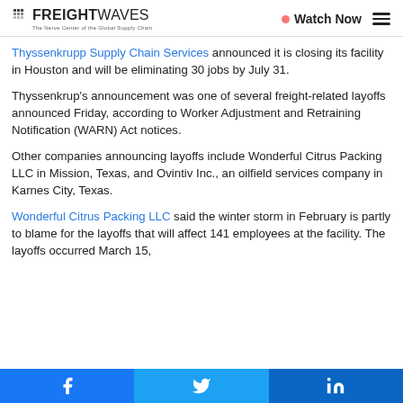FREIGHTWAVES — The Nerve Center of the Global Supply Chain | Watch Now
Thyssenkrupp Supply Chain Services announced it is closing its facility in Houston and will be eliminating 30 jobs by July 31.
Thyssenkrup's announcement was one of several freight-related layoffs announced Friday, according to Worker Adjustment and Retraining Notification (WARN) Act notices.
Other companies announcing layoffs include Wonderful Citrus Packing LLC in Mission, Texas, and Ovintiv Inc., an oilfield services company in Karnes City, Texas.
Wonderful Citrus Packing LLC said the winter storm in February is partly to blame for the layoffs that will affect 141 employees at the facility. The layoffs occurred March 15,